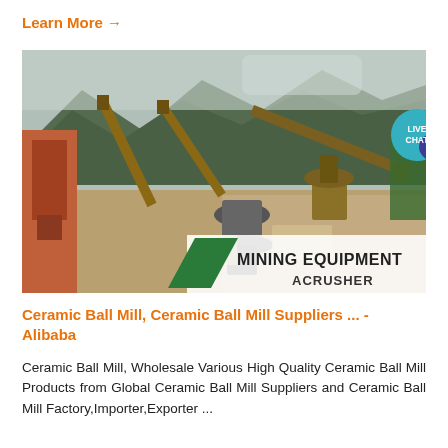Learn More →
[Figure (photo): Aerial view of a mining/crushing equipment facility with conveyor belts, crushers, and heavy machinery set against a mountainous backdrop. A 'LIVE CHAT' badge appears in the upper right. The image has a watermark/logo area at bottom right reading 'MINING EQUIPMENT ACRUSHER' with green diagonal stripe logos.]
Ceramic Ball Mill, Ceramic Ball Mill Suppliers ... - Alibaba
Ceramic Ball Mill, Wholesale Various High Quality Ceramic Ball Mill Products from Global Ceramic Ball Mill Suppliers and Ceramic Ball Mill Factory,Importer,Exporter ...